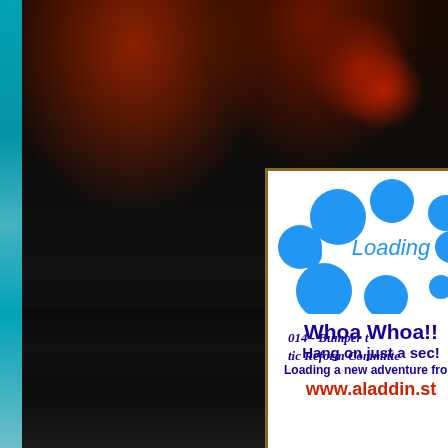[Figure (screenshot): Background night street scene with cars and motorcycles, with a loading popup overlay card showing blue bubbles, 'Loading' text, 'Whoa Whoa!! Hang on just a sec! Loading a new adventure from www.aladdin.st', and partial text '014 - Bumper t... tic Reform Committe...' visible on right side]